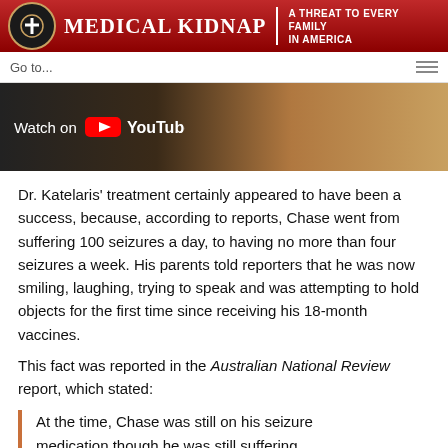MEDICAL KIDNAP | A THREAT TO EVERY FAMILY IN AMERICA
[Figure (screenshot): Navigation bar with 'Go to...' text and hamburger menu icon]
[Figure (screenshot): YouTube video thumbnail showing Watch on YouTube button over an image]
Dr. Katelaris' treatment certainly appeared to have been a success, because, according to reports, Chase went from suffering 100 seizures a day, to having no more than four seizures a week. His parents told reporters that he was now smiling, laughing, trying to speak and was attempting to hold objects for the first time since receiving his 18-month vaccines.
This fact was reported in the Australian National Review report, which stated:
At the time, Chase was still on his seizure medication though he was still suffering...